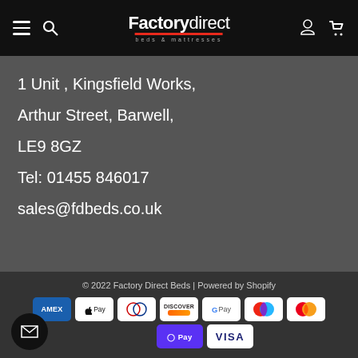Factory Direct beds & mattresses navigation bar
1 Unit , Kingsfield Works,
Arthur Street, Barwell,
LE9 8GZ
Tel: 01455 846017
sales@fdbeds.co.uk
© 2022 Factory Direct Beds | Powered by Shopify
[Figure (logo): Payment method logos: American Express, Apple Pay, Diners Club, Discover, Google Pay, Maestro, Mastercard, O Pay, Visa]